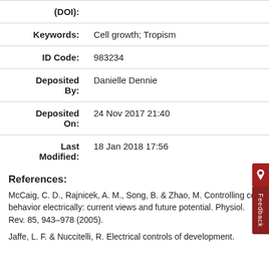| Field | Value |
| --- | --- |
| (DOI): |  |
| Keywords: | Cell growth; Tropism |
| ID Code: | 983234 |
| Deposited By: | Danielle Dennie |
| Deposited On: | 24 Nov 2017 21:40 |
| Last Modified: | 18 Jan 2018 17:56 |
References:
McCaig, C. D., Rajnicek, A. M., Song, B. & Zhao, M. Controlling cell behavior electrically: current views and future potential. Physiol. Rev. 85, 943–978 (2005).
Jaffe, L. F. & Nuccitelli, R. Electrical controls of development.